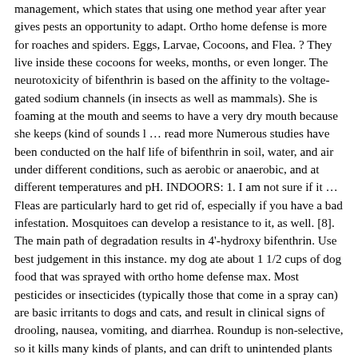management, which states that using one method year after year gives pests an opportunity to adapt. Ortho home defense is more for roaches and spiders. Eggs, Larvae, Cocoons, and Flea. ? They live inside these cocoons for weeks, months, or even longer. The neurotoxicity of bifenthrin is based on the affinity to the voltage-gated sodium channels (in insects as well as mammals). She is foaming at the mouth and seems to have a very dry mouth because she keeps (kind of sounds l … read more Numerous studies have been conducted on the half life of bifenthrin in soil, water, and air under different conditions, such as aerobic or anaerobic, and at different temperatures and pH. INDOORS: 1. I am not sure if it … Fleas are particularly hard to get rid of, especially if you have a bad infestation. Mosquitoes can develop a resistance to it, as well. [8]. The main path of degradation results in 4'-hydroxy bifenthrin. Use best judgement in this instance. my dog ate about 1 1/2 cups of dog food that was sprayed with ortho home defense max. Most pesticides or insecticides (typically those that come in a spray can) are basic irritants to dogs and cats, and result in clinical signs of drooling, nausea, vomiting, and diarrhea. Roundup is non-selective, so it kills many kinds of plants, and can drift to unintended plants and harm or kill them. If I spray it on a door handle, will it be toxic from then on? Flea bombs work pretty good too, but I prefer the spray. It is a white, waxy solid with a faint sweet smell. My dog jumps and bites when I take her running/jogging, what can I do? Heavy loads of mercury and PCBs